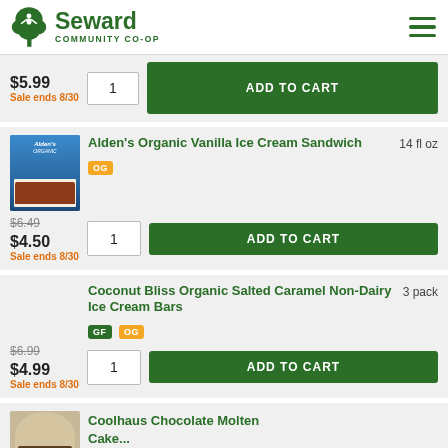Seward Community Co-op
$5.99 | Sale ends 8/30 | ADD TO CART | qty: 1
Alden's Organic Vanilla Ice Cream Sandwich, 14 fl oz, OG
$6.49 (original) $4.50 | Sale ends 8/30 | ADD TO CART | qty: 1
Coconut Bliss Organic Salted Caramel Non-Dairy Ice Cream Bars, 3 pack, GF, OG
$6.99 (original) $4.99 | Sale ends 8/30 | ADD TO CART | qty: 1
Coolhaus Chocolate Molten ...